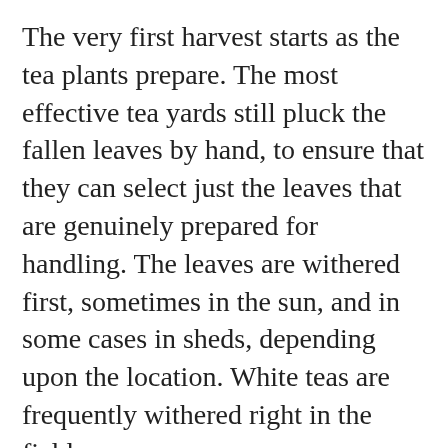The very first harvest starts as the tea plants prepare. The most effective tea yards still pluck the fallen leaves by hand, to ensure that they can select just the leaves that are genuinely prepared for handling. The leaves are withered first, sometimes in the sun, and in some cases in sheds, depending upon the location. White teas are frequently withered right in the fields.
Next, the tea has to be refined. This process can be very various relying on the tea variety. Black teas are fermented at this point, where as eco-friendly teas are steamed or terminated beside sto...